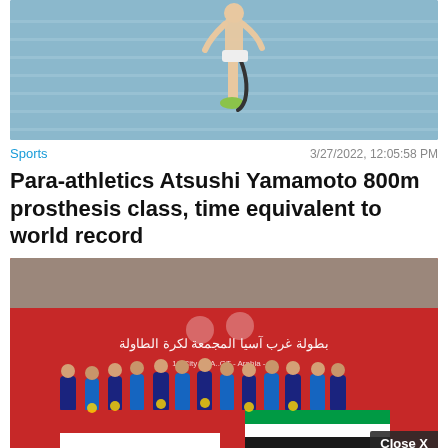[Figure (photo): A runner on a blue athletic track, wearing a prosthetic leg and green shoe, mid-stride]
Sports    3/27/2022, 12:05:58 PM
Para-athletics Atsushi Yamamoto 800m prosthesis class, time equivalent to world record
[Figure (photo): A group of young athletes holding UAE and another country's flag in front of a red banner for West Asia Para Table Tennis Championship. A 'Close X' button appears at bottom right.]
[Figure (other): Advertisement bar: Shop Online, Pickup Today - World Market, with play icon, close X, brand logo, and a blue diamond arrow icon]